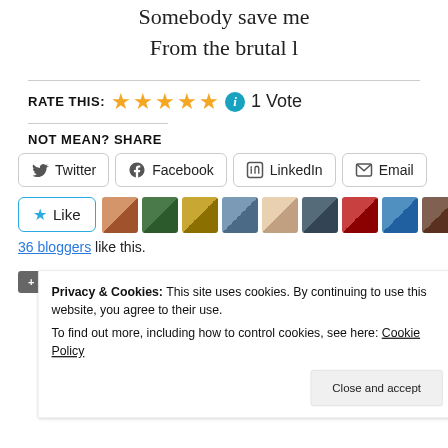Somebody save me
From the brutal l
RATE THIS: ★★★★★ ℹ 1 Vote
NOT MEAN? SHARE
Twitter  Facebook  LinkedIn  Email
[Figure (other): Like button with star icon and row of blogger avatar thumbnails]
36 bloggers like this.
+ BANDAGES  + BLOGGING  + BLOGS  + GEORGEACAK
Privacy & Cookies: This site uses cookies. By continuing to use this website, you agree to their use.
To find out more, including how to control cookies, see here: Cookie Policy
Close and accept